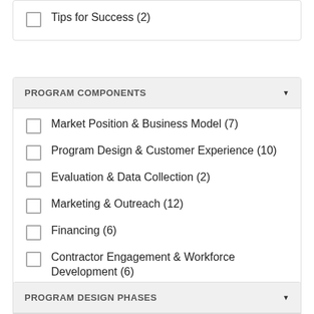Tips for Success (2)
PROGRAM COMPONENTS
Market Position & Business Model (7)
Program Design & Customer Experience (10)
Evaluation & Data Collection (2)
Marketing & Outreach (12)
Financing (6)
Contractor Engagement & Workforce Development (6)
PROGRAM DESIGN PHASES